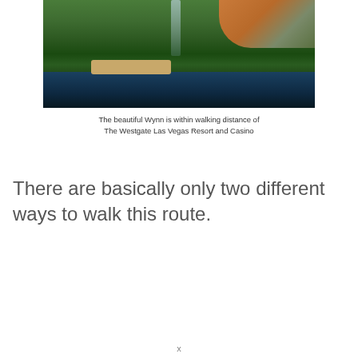[Figure (photo): Photograph of the Wynn Las Vegas resort exterior, showing a bridge over a lagoon, lush green trees, a waterfall, and the distinctive curved copper/orange building in the background.]
The beautiful Wynn is within walking distance of The Westgate Las Vegas Resort and Casino
There are basically only two different ways to walk this route.